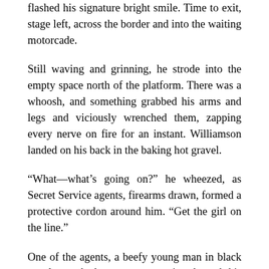flashed his signature bright smile. Time to exit, stage left, across the border and into the waiting motorcade.
Still waving and grinning, he strode into the empty space north of the platform. There was a whoosh, and something grabbed his arms and legs and viciously wrenched them, zapping every nerve on fire for an instant. Williamson landed on his back in the baking hot gravel.
“What—what’s going on?” he wheezed, as Secret Service agents, firearms drawn, formed a protective cordon around him. “Get the girl on the line.”
One of the agents, a beefy young man in black sunglasses, had a curt conversation through his earpiece. “She says—sir, she says FENCE has determined that you have over 50% non-Caucasian DNA…”